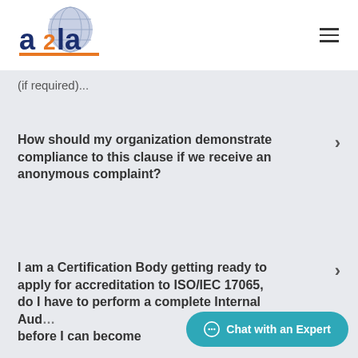[Figure (logo): A2LA logo with globe and orange underline]
(if required)...
How should my organization demonstrate compliance to this clause if we receive an anonymous complaint?
I am a Certification Body getting ready to apply for accreditation to ISO/IEC 17065, do I have to perform a complete Internal Audit before I can become